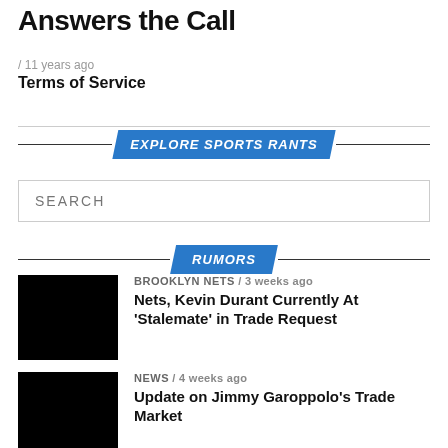Answers the Call
/ 11 years ago
Terms of Service
EXPLORE SPORTS RANTS
SEARCH
RUMORS
BROOKLYN NETS / 3 weeks ago
Nets, Kevin Durant Currently At 'Stalemate' in Trade Request
NEWS / 4 weeks ago
Update on Jimmy Garoppolo's Trade Market